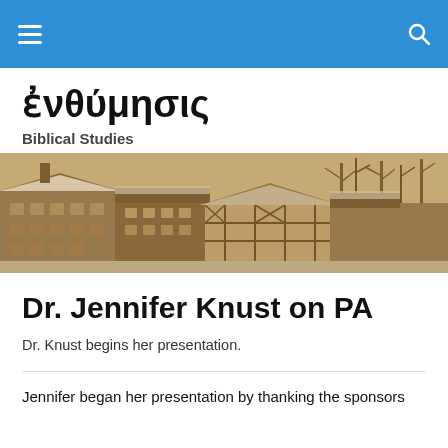ἐνθύμησις | Biblical Studies
ἐνθύμησις
Biblical Studies
[Figure (photo): Sepia-toned panoramic photo of historic European buildings with snow-covered roofs and bare winter trees]
Dr. Jennifer Knust on PA
Dr. Knust begins her presentation.
Jennifer began her presentation by thanking the sponsors